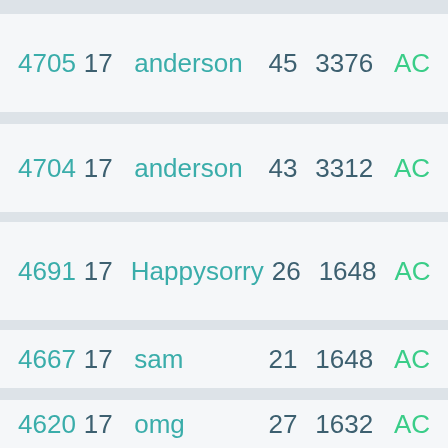| 4705 | 17 | anderson | 45 | 3376 | AC |
| 4704 | 17 | anderson | 43 | 3312 | AC |
| 4691 | 17 | Happysorry | 26 | 1648 | AC |
| 4667 | 17 | sam | 21 | 1648 | AC |
| 4620 | 17 | omg | 27 | 1632 | AC |